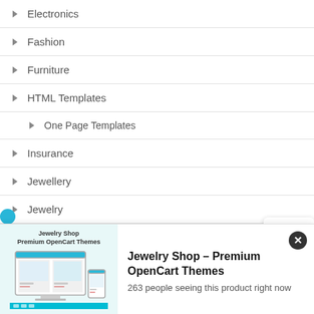Electronics
Fashion
Furniture
HTML Templates
One Page Templates
Insurance
Jewellery
Jewelry
Loans
Max-Property
Medical
[Figure (illustration): Help/support lifesaver ring icon in a white rounded square]
[Figure (screenshot): Advertisement banner: Jewelry Shop Premium OpenCart Themes thumbnail showing desktop and mobile mockup]
Jewelry Shop – Premium OpenCart Themes
263 people seeing this product right now